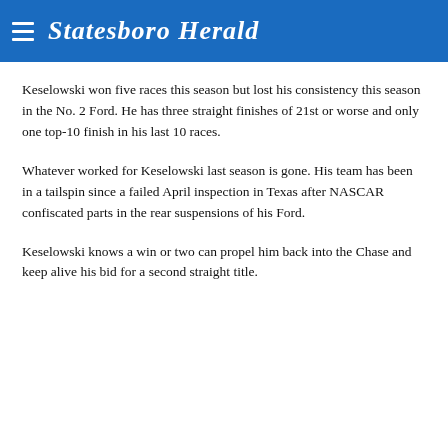Statesboro Herald
Keselowski won five races this season but lost his consistency this season in the No. 2 Ford. He has three straight finishes of 21st or worse and only one top-10 finish in his last 10 races.
Whatever worked for Keselowski last season is gone. His team has been in a tailspin since a failed April inspection in Texas after NASCAR confiscated parts in the rear suspensions of his Ford.
Keselowski knows a win or two can propel him back into the Chase and keep alive his bid for a second straight title.